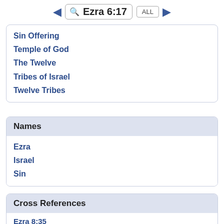Ezra 6:17
Sin Offering
Temple of God
The Twelve
Tribes of Israel
Twelve Tribes
Names
Ezra
Israel
Sin
Cross References
Ezra 8:35
The exiles who had come from the captivity offered burnt offerings to the God of Israel: 12 bulls for all